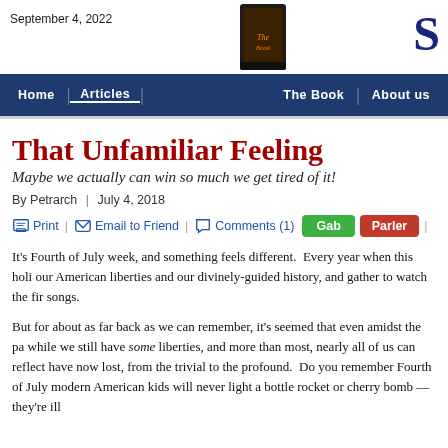September 4, 2022
Home | Articles | The Book | About us
That Unfamiliar Feeling
Maybe we actually can win so much we get tired of it!
By Petrarch | July 4, 2018
Print | Email to Friend | Comments (1) | Gab | Parler
It's Fourth of July week, and something feels different.  Every year when this holi... our American liberties and our divinely-guided history, and gather to watch the fir... songs.
But for about as far back as we can remember, it's seemed that even amidst the pa... while we still have some liberties, and more than most, nearly all of us can reflect... have now lost, from the trivial to the profound.  Do you remember Fourth of July... modern American kids will never light a bottle rocket or cherry bomb — they're ill...